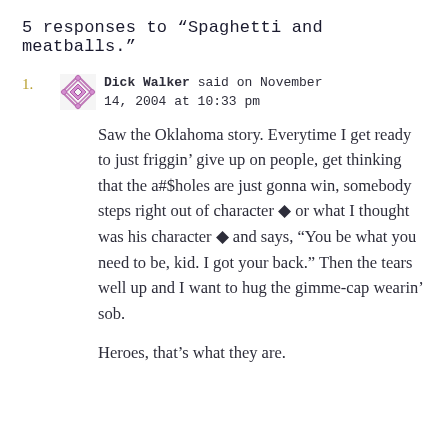5 responses to “Spaghetti and meatballs.”
Dick Walker said on November 14, 2004 at 10:33 pm

Saw the Oklahoma story. Everytime I get ready to just friggin’ give up on people, get thinking that the a#$holes are just gonna win, somebody steps right out of character ◆ or what I thought was his character ◆ and says, “You be what you need to be, kid. I got your back.” Then the tears well up and I want to hug the gimme-cap wearin’ sob.

Heroes, that’s what they are.